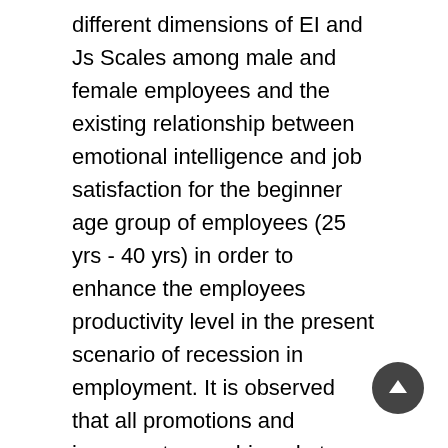different dimensions of EI and Js Scales among male and female employees and the existing relationship between emotional intelligence and job satisfaction for the beginner age group of employees (25 yrs - 40 yrs) in order to enhance the employees productivity level in the present scenario of recession in employment. It is observed that all promotions and increment are achieved at these 25 yrs - 40 yrs age group employees. Therefore, the sample is selected randomly and grouped. Survey method with the administration of Emotional Intelligence Scale and opinionScedule is used. The findings of the study has revealed that there is a positive relationship between emotional intelligence and performance excellence. The study is concluded with a remark that the relevance of this study should be followed by the administrative body IT sectors to motivate them and to get more